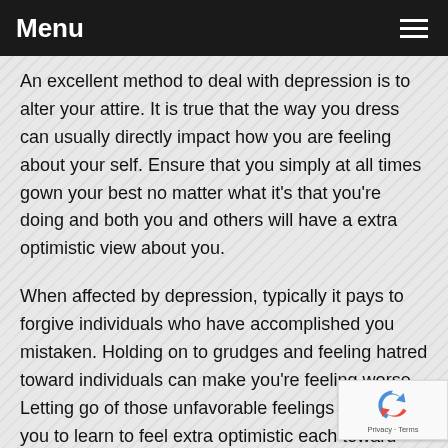Menu
An excellent method to deal with depression is to alter your attire. It is true that the way you dress can usually directly impact how you are feeling about your self. Ensure that you simply at all times gown your best no matter what it's that you're doing and both you and others will have a extra optimistic view about you.
When affected by depression, typically it pays to forgive individuals who have accomplished you mistaken. Holding on to grudges and feeling hatred toward individuals can make you're feeling worse. Letting go of those unfavorable feelings can enable you to learn to feel extra optimistic each toward yourself and toward others.
If nothing else, you should have realized by now that